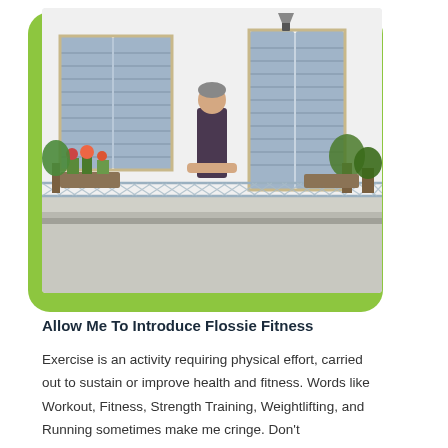[Figure (photo): Elderly woman standing on a balcony with blue shutters, looking over the railing. Potted plants and flowers are visible on the balcony edges. White building facade with Mediterranean style architecture.]
Allow Me To Introduce Flossie Fitness
Exercise is an activity requiring physical effort, carried out to sustain or improve health and fitness. Words like Workout, Fitness, Strength Training, Weightlifting, and Running sometimes make me cringe. Don't